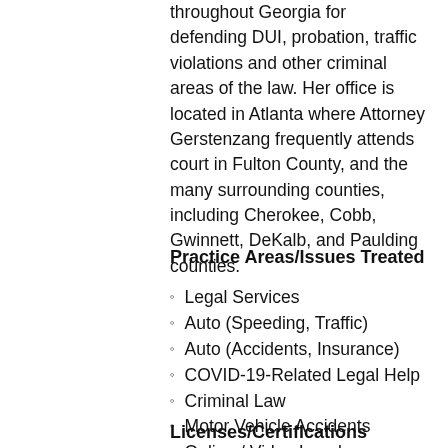throughout Georgia for defending DUI, probation, traffic violations and other criminal areas of the law. Her office is located in Atlanta where Attorney Gerstenzang frequently attends court in Fulton County, and the many surrounding counties, including Cherokee, Cobb, Gwinnett, DeKalb, and Paulding counties.
Practice Areas/Issues Treated
Legal Services
Auto (Speeding, Traffic)
Auto (Accidents, Insurance)
COVID-19-Related Legal Help
Criminal Law
Motor Vehicle Accidents
Online / Video Legal Consultation
Licenses/Certifications